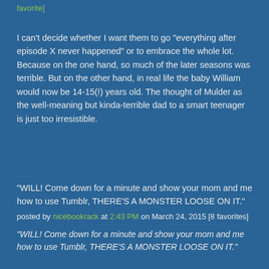favorite]
I can't decide whether I want them to go "everything after episode X never happened" or to embrace the whole lot. Because on the one hand, so much of the later seasons was terrible. But on the other hand, in real life the baby William would now be 14-15(!) years old. The thought of Mulder as the well-meaning but kinda-terrible dad to a smart teenager is just too irresistible.
"WILL! Come down for a minute and show your mom and me how to use Tumblr, THERE'S A MONSTER LOOSE ON IT."
posted by nicebookrack at 2:43 PM on March 24, 2015 [8 favorites]
"WILL! Come down for a minute and show your mom and me how to use Tumblr, THERE'S A MONSTER LOOSE ON IT."